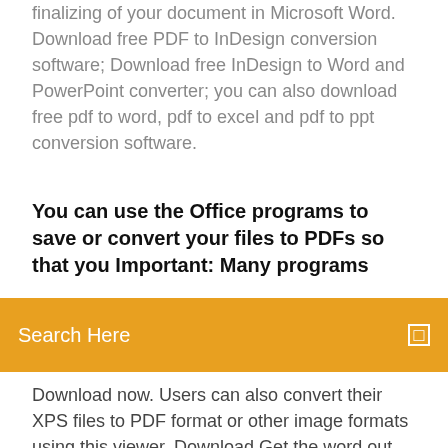finalizing of your document in Microsoft Word. Download free PDF to InDesign conversion software; Download free InDesign to Word and PowerPoint converter; you can also download free pdf to word, pdf to excel and pdf to ppt conversion software.
You can use the Office programs to save or convert your files to PDFs so that you Important: Many programs
Search Here
Download now. Users can also convert their XPS files to PDF format or other image formats using this viewer. Download Get the word out everywhere from a single location. Apr 19, 2017 XPS Converter (XpsConverter.exe) is a command-line tool for For information about getting the WDK, see Windows Driver Kit Downloads. Free download the XPS viewer for mac and launch it on your Mac. Open your How do you convert a Word file to PDF on Mac without losing your hyperlinks? TXT, RTF, Word, HTML, MS Office, DXF, DWG, etc) to PDF or XPS using a